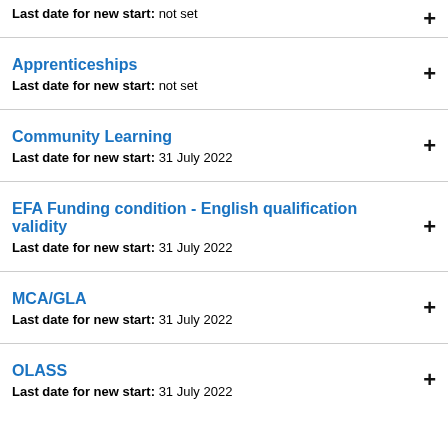Last date for new start: not set
Apprenticeships
Last date for new start: not set
Community Learning
Last date for new start: 31 July 2022
EFA Funding condition - English qualification validity
Last date for new start: 31 July 2022
MCA/GLA
Last date for new start: 31 July 2022
OLASS
Last date for new start: 31 July 2022